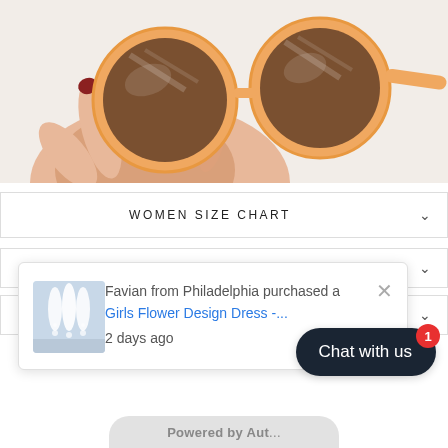[Figure (photo): Hand holding round peach/orange-framed sunglasses with brown tinted lenses, photographed against a white background]
WOMEN SIZE CHART
[Figure (screenshot): Notification popup: 'Favian from Philadelphia purchased a Girls Flower Design Dress -... 2 days ago' with a thumbnail of the dress]
Chat with us
Powered by Aut...